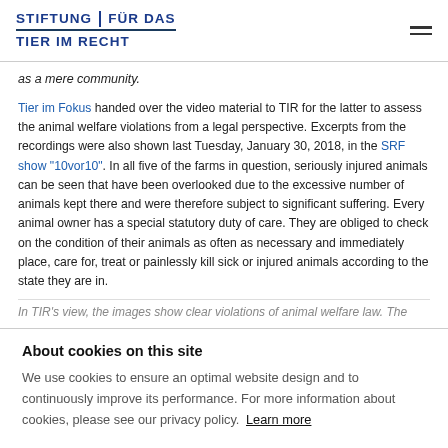STIFTUNG | FÜR DAS TIER IM RECHT
as a mere community.
Tier im Fokus handed over the video material to TIR for the latter to assess the animal welfare violations from a legal perspective. Excerpts from the recordings were also shown last Tuesday, January 30, 2018, in the SRF show "10vor10". In all five of the farms in question, seriously injured animals can be seen that have been overlooked due to the excessive number of animals kept there and were therefore subject to significant suffering. Every animal owner has a special statutory duty of care. They are obliged to check on the condition of their animals as often as necessary and immediately place, care for, treat or painlessly kill sick or injured animals according to the state they are in.
In TIR's view, the images show clear violations of animal welfare law. The
About cookies on this site
We use cookies to ensure an optimal website design and to continuously improve its performance. For more information about cookies, please see our privacy policy. Learn more